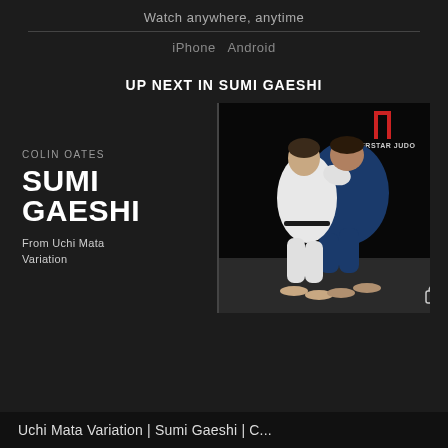Watch anywhere, anytime
iPhone   Android
UP NEXT IN SUMI GAESHI
COLIN OATES
SUMI GAESHI
From Uchi Mata Variation
[Figure (photo): Two judo practitioners grappling — one in white gi, one in blue gi, on a dark background. Superstar Judo logo visible in top right corner.]
Uchi Mata Variation | Sumi Gaeshi | C...